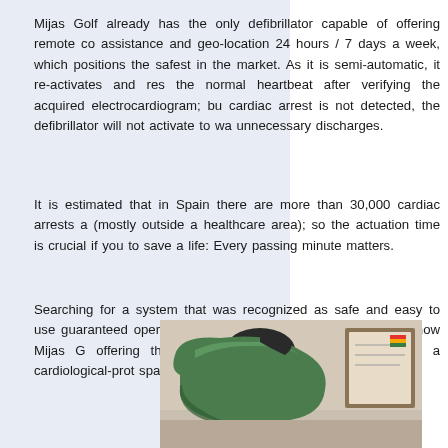Mijas Golf already has the only defibrillator capable of offering remote co assistance and geo-location 24 hours / 7 days a week, which positions the safest in the market. As it is semi-automatic, it re-activates and res the normal heartbeat after verifying the acquired electrocardiogram; bu cardiac arrest is not detected, the defibrillator will not activate to wa unnecessary discharges.
It is estimated that in Spain there are more than 30,000 cardiac arrests a (mostly outside a healthcare area); so the actuation time is crucial if you to save a life: Every passing minute matters.
Searching for a system that was recognized as safe and easy to use guaranteed operation, maintenance and maximum speed, now Mijas G offering the added value of being considered as a cardiological-prot space.
[Figure (photo): A green defibrillator device placed on a surface, with a framed certificate or picture visible in the background.]